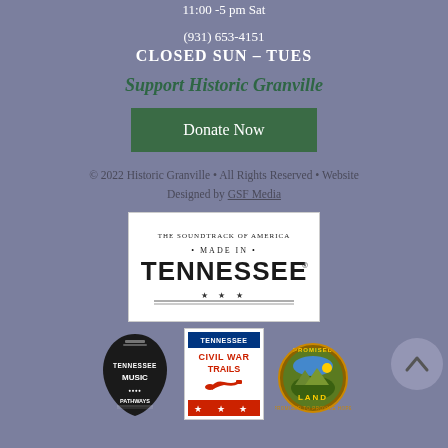11:00 -5 pm Sat
(931) 653-4151
CLOSED SUN – TUES
Support Historic Granville
Donate Now
© 2022 Historic Granville • All Rights Reserved • Website Designed by GSF Media
[Figure (logo): The Soundtrack of America Made in Tennessee logo on white background]
[Figure (logo): Tennessee Music Pathways logo - guitar pick shape, black]
[Figure (logo): Tennessee Civil War Trails logo with trumpet and stars]
[Figure (logo): Promised Land logo - round badge with landscape]